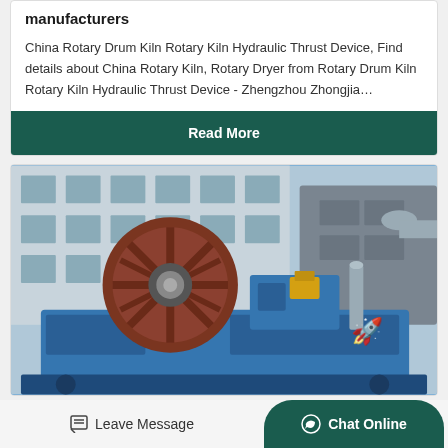manufacturers
China Rotary Drum Kiln Rotary Kiln Hydraulic Thrust Device, Find details about China Rotary Kiln, Rotary Dryer from Rotary Drum Kiln Rotary Kiln Hydraulic Thrust Device - Zhengzhou Zhongjia…
Read More
[Figure (photo): Industrial blue rotary kiln blower/fan motor machine photographed outdoors at a manufacturing facility]
Leave Message
Chat Online